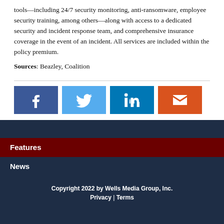tools—including 24/7 security monitoring, anti-ransomware, employee security training, among others—along with access to a dedicated security and incident response team, and comprehensive insurance coverage in the event of an incident. All services are included within the policy premium.
Sources: Beazley, Coalition
[Figure (other): Social sharing buttons: Facebook (dark blue), Twitter (light blue), LinkedIn (medium blue), Email (orange)]
Features
News
Copyright 2022 by Wells Media Group, Inc. Privacy | Terms